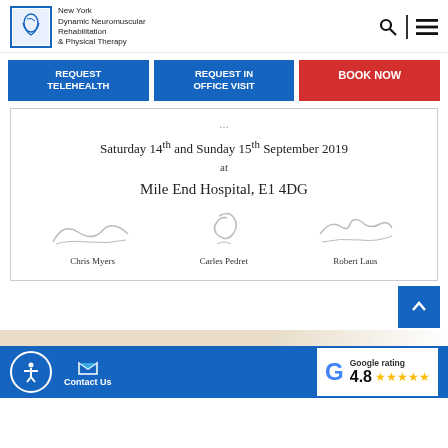New York Dynamic Neuromuscular Rehabilitation & Physical Therapy
REQUEST TELEHEALTH | REQUEST IN OFFICE VISIT | BOOK NOW
Saturday 14th and Sunday 15th September 2019
at
Mile End Hospital, E1 4DG
[Figure (other): Three signatures with names: Chris Myers, Carles Pedret, Robert Laus]
Google rating 4.8
Contact Us